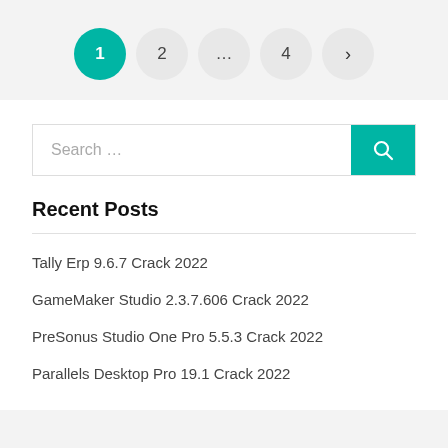1 2 … 4 >
Search …
Recent Posts
Tally Erp 9.6.7 Crack 2022
GameMaker Studio 2.3.7.606 Crack 2022
PreSonus Studio One Pro 5.5.3 Crack 2022
Parallels Desktop Pro 19.1 Crack 2022